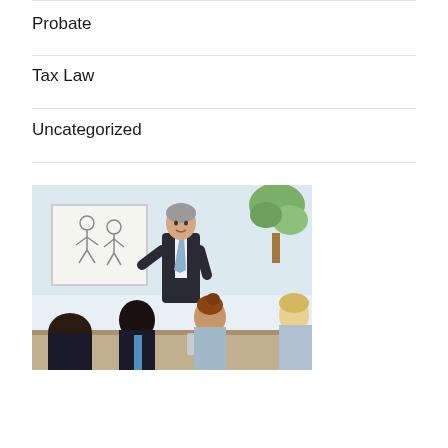Probate
Tax Law
Uncategorized
[Figure (photo): Business meeting scene: a man in a dark suit standing at a whiteboard presenting to seated colleagues around a table, indoor office setting with a plant in background]